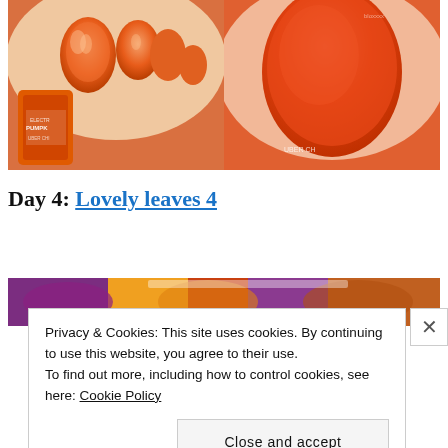[Figure (photo): Two side-by-side close-up photos of orange nail polish on a hand, showing shimmery/glittery finish. Left photo shows bottle labeled 'Electric Pumpkin Uber Chic'. Right photo shows a matte textured orange nail close-up with 'Uber Chic' label.]
Day 4: Lovely leaves 4
[Figure (photo): Partial view of a nail art image with autumn leaves in purple and orange tones, partially obscured by cookie banner.]
Privacy & Cookies: This site uses cookies. By continuing to use this website, you agree to their use.
To find out more, including how to control cookies, see here: Cookie Policy
Close and accept